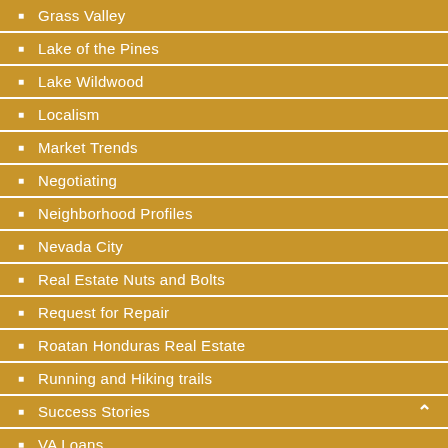Grass Valley
Lake of the Pines
Lake Wildwood
Localism
Market Trends
Negotiating
Neighborhood Profiles
Nevada City
Real Estate Nuts and Bolts
Request for Repair
Roatan Honduras Real Estate
Running and Hiking trails
Success Stories
VA Loans